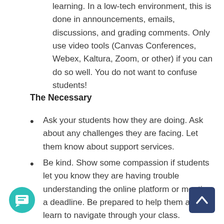learning. In a low-tech environment, this is done in announcements, emails, discussions, and grading comments. Only use video tools (Canvas Conferences, Webex, Kaltura, Zoom, or other) if you can do so well. You do not want to confuse students!
The Necessary
Ask your students how they are doing. Ask about any challenges they are facing. Let them know about support services.
Be kind. Show some compassion if students let you know they are having trouble understanding the online platform or meeting a deadline. Be prepared to help them as they learn to navigate through your class.
Log in daily. It's a good idea to log in in the morning and again in the late afternoon or